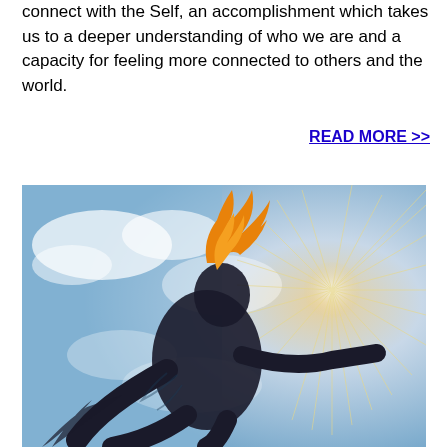connect with the Self, an accomplishment which takes us to a deeper understanding of who we are and a capacity for feeling more connected to others and the world.
READ MORE >>
[Figure (illustration): A spiritual illustration showing a dark silhouette of a person in a flying or floating pose with arms outstretched, with an orange flame or energy rising from the head. The background shows a cloudy sky with a radiant sunburst on the right side. The image has warm golden tones on the right and cool blue tones on the left.]